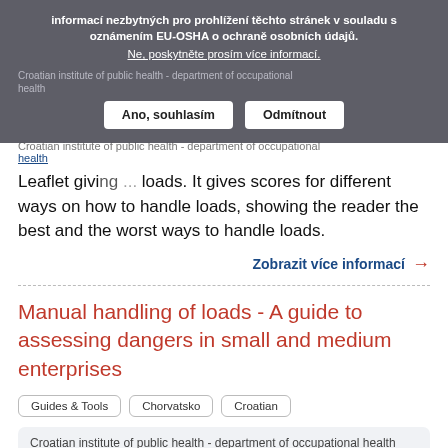informací nezbytných pro prohlížení těchto stránek v souladu s oznámením EU-OSHA o ochraně osobních údajů.
Ne, poskytněte prosím více informací.
Ano, souhlasím
Odmítnout
Croatian institute of public health - department of occupational health
Leaflet giving ... loads. It gives scores for different ways on how to handle loads, showing the reader the best and the worst ways to handle loads.
Zobrazit více informací →
Manual handling of loads - A guide to assessing dangers in small and medium enterprises
Guides & Tools
Chorvatsko
Croatian
Croatian institute of public health - department of occupational health